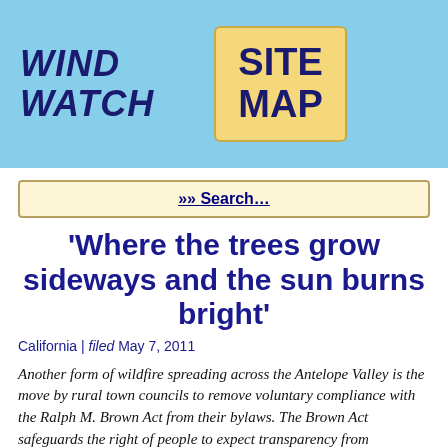WIND WATCH  SITE MAP
»» Search…
'Where the trees grow sideways and the sun burns bright'
California | filed May 7, 2011
Another form of wildfire spreading across the Antelope Valley is the move by rural town councils to remove voluntary compliance with the Ralph M. Brown Act from their bylaws. The Brown Act safeguards the right of people to expect transparency from government bodies, and the right to be present when elected representatives are making decisions that affect their lives. Decisions made behind closed doors, out of the public eye, are